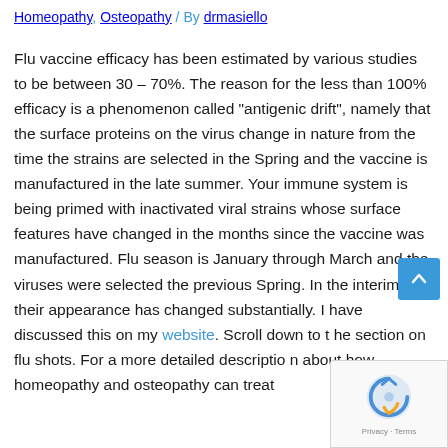Homeopathy, Osteopathy / By drmasiello
Flu vaccine efficacy has been estimated by various studies to be between 30 – 70%. The reason for the less than 100% efficacy is a phenomenon called "antigenic drift", namely that the surface proteins on the virus change in nature from the time the strains are selected in the Spring and the vaccine is manufactured in the late summer. Your immune system is being primed with inactivated viral strains whose surface features have changed in the months since the vaccine was manufactured. Flu season is January through March and the viruses were selected the previous Spring. In the interim, their appearance has changed substantially. I have discussed this on my website. Scroll down to the section on flu shots. For a more detailed description about how homeopathy and osteopathy can treat